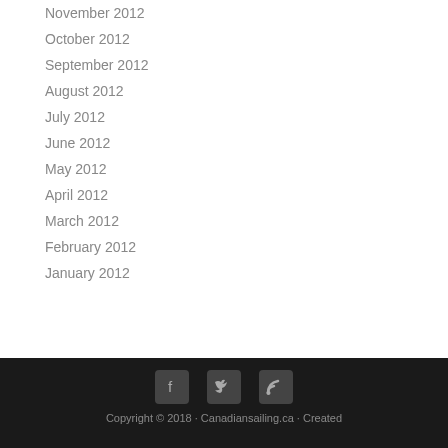November 2012
October 2012
September 2012
August 2012
July 2012
June 2012
May 2012
April 2012
March 2012
February 2012
January 2012
Copyright © 2018 · Canadiansailing.ca · Created